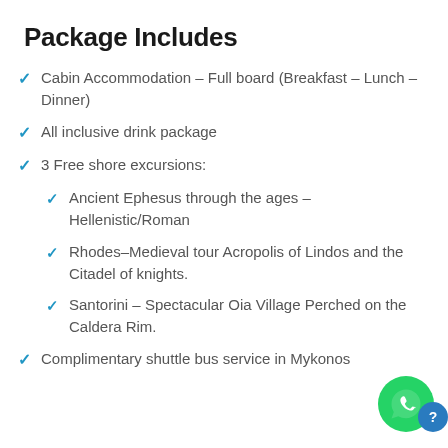Package Includes
Cabin Accommodation – Full board (Breakfast – Lunch –Dinner)
All inclusive drink package
3 Free shore excursions:
Ancient Ephesus through the ages – Hellenistic/Roman
Rhodes–Medieval tour Acropolis of Lindos and the Citadel of knights.
Santorini – Spectacular Oia Village Perched on the Caldera Rim.
Complimentary shuttle bus service in Mykonos